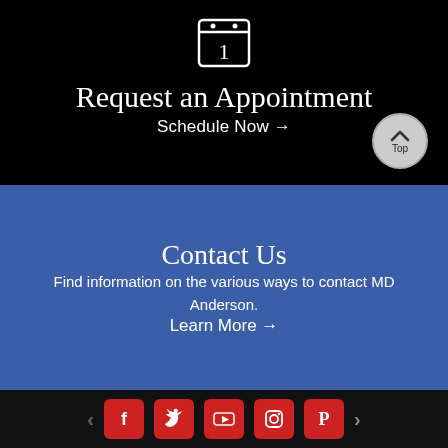[Figure (illustration): Calendar icon with number 1, white outline on black background]
Request an Appointment
Schedule Now →
[Figure (illustration): Top button - circular button with upward chevron and 'Top' label]
Contact Us
Find information on the various ways to contact MD Anderson.
Learn More →
[Figure (illustration): Social media icons row: Facebook, Twitter, YouTube, Instagram, Pinterest with left and right navigation arrows]